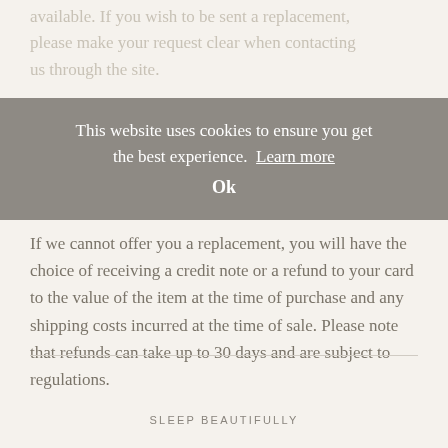available. If you wish to be sent a replacement, please make your request clear when contacting us through the site.
This website uses cookies to ensure you get the best experience. Learn more
Ok
If we cannot offer you a replacement, you will have the choice of receiving a credit note or a refund to your card to the value of the item at the time of purchase and any shipping costs incurred at the time of sale. Please note that refunds can take up to 30 days and are subject to regulations.
SLEEP BEAUTIFULLY